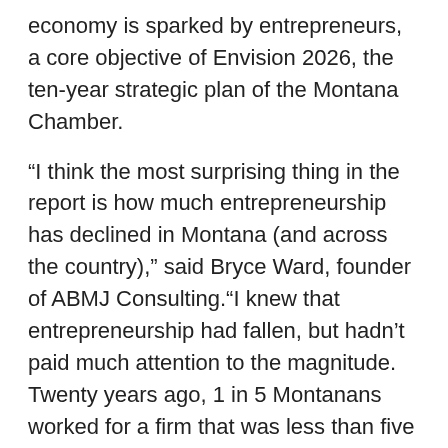economy is sparked by entrepreneurs, a core objective of Envision 2026, the ten-year strategic plan of the Montana Chamber.
“I think the most surprising thing in the report is how much entrepreneurship has declined in Montana (and across the country),” said Bryce Ward, founder of ABMJ Consulting.“I knew that entrepreneurship had fallen, but hadn’t paid much attention to the magnitude. Twenty years ago, 1 in 5 Montanans worked for a firm that was less than five years old and 1 in 7 Montanans owned a business as their main job. Today, only 1 in 8 Montanans work for a firm less than five years old and only 1 in 10 Montanans owned a business as their main job. This represents a 42 percent and 28 percent decline, respectively.”